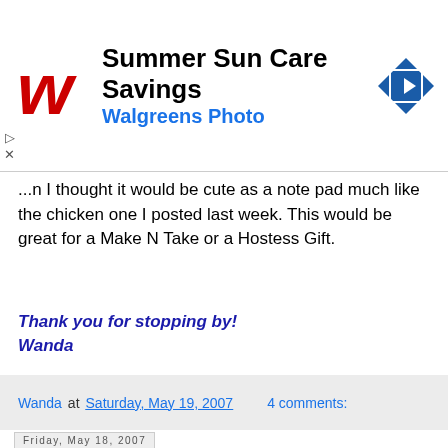[Figure (logo): Walgreens ad banner with red W logo, 'Summer Sun Care Savings' title, 'Walgreens Photo' subtitle in blue, and a blue diamond turn sign icon on the right]
...n I thought it would be cute as a note pad much like the chicken one I posted last week. This would be great for a Make N Take or a Hostess Gift.
Thank you for stopping by!
Wanda
Wanda at Saturday, May 19, 2007   4 comments:
Friday, May 18, 2007
Fun With Garbage!
[Figure (photo): Partial view of a red and black card/craft project]
Ok, what normally is tossed out in the recycling I used on this card. I had punched out some black...